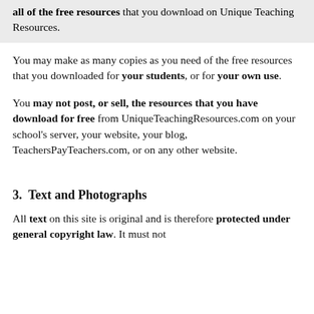all of the free resources that you download on Unique Teaching Resources.
You may make as many copies as you need of the free resources that you downloaded for your students, or for your own use.
You may not post, or sell, the resources that you have download for free from UniqueTeachingResources.com on your school's server, your website, your blog, TeachersPayTeachers.com, or on any other website.
3.  Text and Photographs
All text on this site is original and is therefore protected under general copyright law. It must not